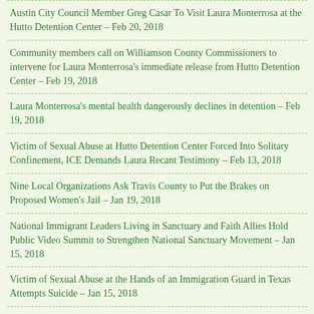Austin City Council Member Greg Casar To Visit Laura Monterrosa at the Hutto Detention Center – Feb 20, 2018
Community members call on Williamson County Commissioners to intervene for Laura Monterrosa's immediate release from Hutto Detention Center – Feb 19, 2018
Laura Monterrosa's mental health dangerously declines in detention – Feb 19, 2018
Victim of Sexual Abuse at Hutto Detention Center Forced Into Solitary Confinement, ICE Demands Laura Recant Testimony – Feb 13, 2018
Nine Local Organizations Ask Travis County to Put the Brakes on Proposed Women's Jail – Jan 19, 2018
National Immigrant Leaders Living in Sanctuary and Faith Allies Hold Public Video Summit to Strengthen National Sanctuary Movement – Jan 15, 2018
Victim of Sexual Abuse at the Hands of an Immigration Guard in Texas Attempts Suicide – Jan 15, 2018
Austin City Council calls special meeting to vote on police union contract as a growing list of Austin organizations and community leaders announce opposition – Dec 8, 2017